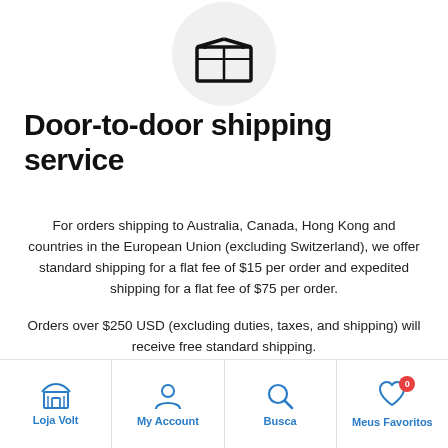[Figure (illustration): A shipping/delivery box icon inside a light gray circle]
Door-to-door shipping service
For orders shipping to Australia, Canada, Hong Kong and countries in the European Union (excluding Switzerland), we offer standard shipping for a flat fee of $15 per order and expedited shipping for a flat fee of $75 per order.
Orders over $250 USD (excluding duties, taxes, and shipping) will receive free standard shipping.
Loja Volt | My Account | Busca | Meus Favoritos